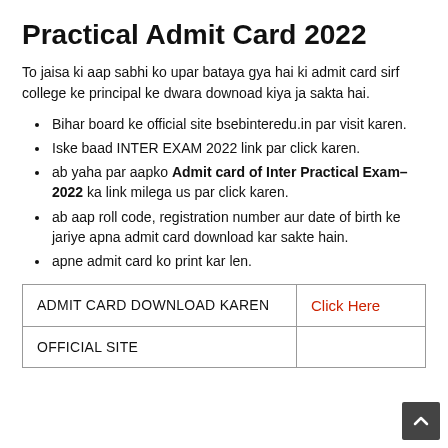Practical Admit Card 2022
To jaisa ki aap sabhi ko upar bataya gya hai ki admit card sirf college ke principal ke dwara downoad kiya ja sakta hai.
Bihar board ke official site bsebinteredu.in par visit karen.
Iske baad INTER EXAM 2022 link par click karen.
ab yaha par aapko Admit card of Inter Practical Exam–2022 ka link milega us par click karen.
ab aap roll code, registration number aur date of birth ke jariye apna admit card download kar sakte hain.
apne admit card ko print kar len.
|  |  |
| --- | --- |
| ADMIT CARD DOWNLOAD KAREN | Click Here |
| OFFICIAL SITE |  |